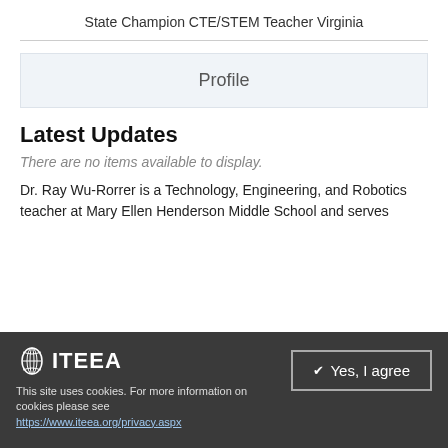State Champion CTE/STEM Teacher Virginia
Profile
Latest Updates
There are no items available to display.
Dr. Ray Wu-Rorrer is a Technology, Engineering, and Robotics teacher at Mary Ellen Henderson Middle School and serves
ITEEA — This site uses cookies. For more information on cookies please see https://www.iteea.org/privacy.aspx — Yes, I agree